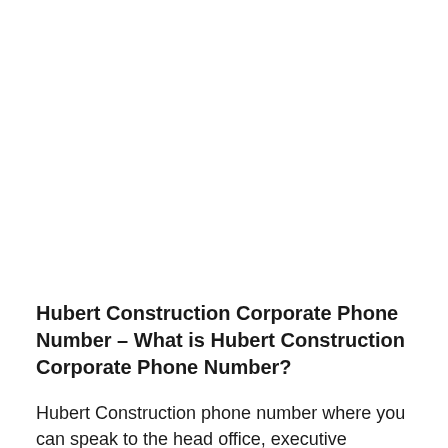Hubert Construction Corporate Phone Number – What is Hubert Construction Corporate Phone Number?
Hubert Construction phone number where you can speak to the head office, executive